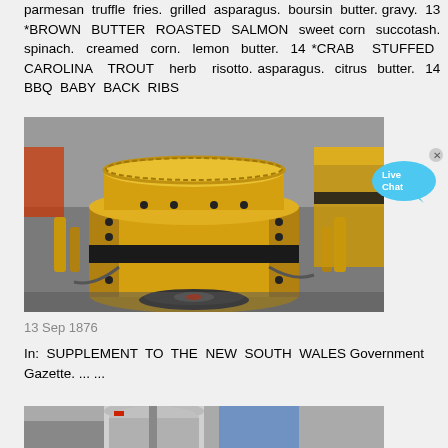parmesan truffle fries. grilled asparagus. boursin butter. gravy. 13 *BROWN BUTTER ROASTED SALMON sweet corn succotash. spinach. creamed corn. lemon butter. 14 *CRAB STUFFED CAROLINA TROUT herb risotto. asparagus. citrus butter. 14 BBQ BABY BACK RIBS
[Figure (photo): Yellow industrial cone crusher machine photographed indoors, showing large yellow cylindrical crushing unit with bolts and hydraulic components]
13 Sep 1876
In: SUPPLEMENT TO THE NEW SOUTH WALES Government Gazette. ... ...
[Figure (photo): Partial view of industrial equipment, appears to show metallic cylindrical components]